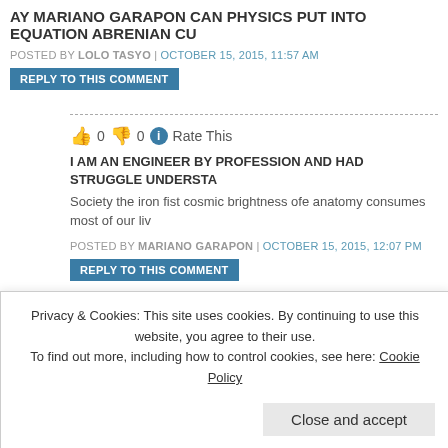AY MARIANO GARAPON CAN PHYSICS PUT INTO EQUATION ABRENIAN CU
POSTED BY LOLO TASYO | OCTOBER 15, 2015, 11:57 AM
REPLY TO THIS COMMENT
👍 0 👎 0 ℹ Rate This
I AM AN ENGINEER BY PROFESSION AND HAD STRUGGLE UNDERSTA
Society the iron fist cosmic brightness ofe anatomy consumes most of our liv
POSTED BY MARIANO GARAPON | OCTOBER 15, 2015, 12:07 PM
REPLY TO THIS COMMENT
👍 0 👎 0 ℹ Rate This
HINAY HINAY ka lang Mariano baka hindi ka na ma gets nitong kandi
can do in Abrenian politics i know its a roller coaster ride its their freedo
Privacy & Cookies: This site uses cookies. By continuing to use this website, you agree to their use. To find out more, including how to control cookies, see here: Cookie Policy
Close and accept